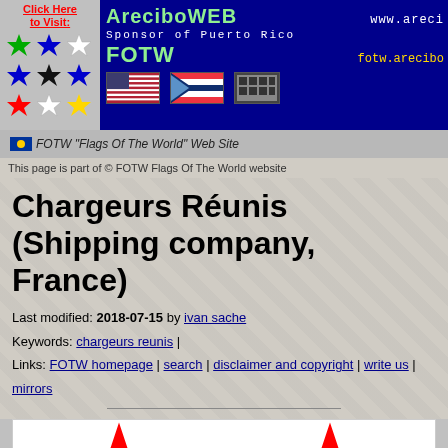[Figure (other): AreciboWEB banner with colored stars, flags, and text: AreciboWEB, Sponsor of Puerto Rico, FOTW, www.areci..., fotw.arecibo...]
FOTW 'Flags Of The World' Web Site
This page is part of © FOTW Flags Of The World website
Chargeurs Réunis (Shipping company, France)
Last modified: 2018-07-15 by ivan sache
Keywords: chargeurs reunis |
Links: FOTW homepage | search | disclaimer and copyright | write us | mirrors
[Figure (illustration): White rectangle showing partial red stars — flag of Chargeurs Réunis shipping company]